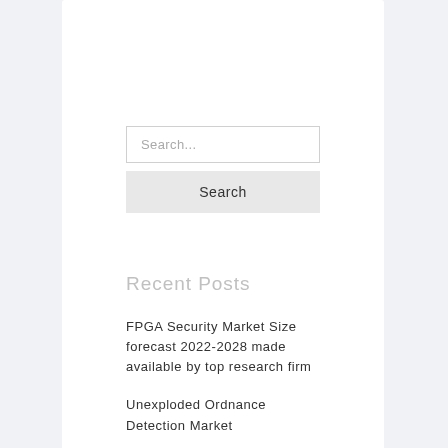[Figure (screenshot): Search widget with input field and search button]
Recent Posts
FPGA Security Market Size forecast 2022-2028 made available by top research firm
Unexploded Ordnance Detection Market